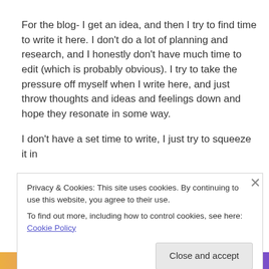For the blog- I get an idea, and then I try to find time to write it here. I don't do a lot of planning and research, and I honestly don't have much time to edit (which is probably obvious). I try to take the pressure off myself when I write here, and just throw thoughts and ideas and feelings down and hope they resonate in some way.
I don't have a set time to write, I just try to squeeze it in
Privacy & Cookies: This site uses cookies. By continuing to use this website, you agree to their use.
To find out more, including how to control cookies, see here: Cookie Policy